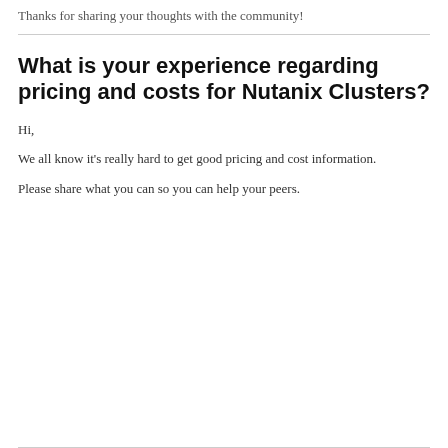Thanks for sharing your thoughts with the community!
What is your experience regarding pricing and costs for Nutanix Clusters?
Hi,
We all know it's really hard to get good pricing and cost information.
Please share what you can so you can help your peers.